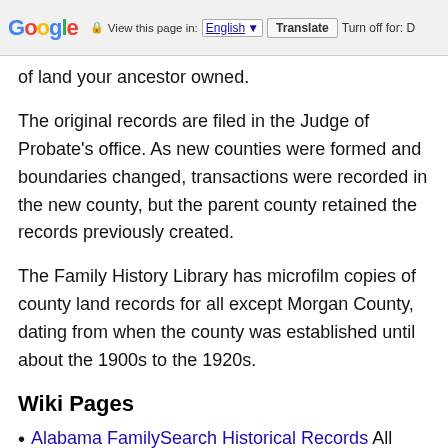Google  View this page in: English  Translate  Turn off for: D
of land your ancestor owned.
The original records are filed in the Judge of Probate's office. As new counties were formed and boundaries changed, transactions were recorded in the new county, but the parent county retained the records previously created.
The Family History Library has microfilm copies of county land records for all except Morgan County, dating from when the county was established until about the 1900s to the 1920s.
Wiki Pages
Alabama FamilySearch Historical Records All pages in
the FamilySearch Wiki Family Search Library...